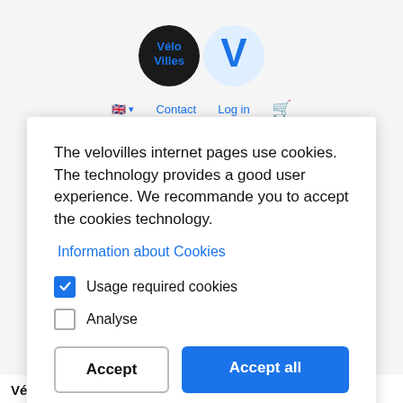[Figure (logo): VéloVilles logo: two circular logos side by side — a dark circle with 'Vélo Villes' text and a blue V emblem circle]
[Figure (screenshot): Website navigation bar with UK flag dropdown, Contact link, Log in link, and shopping cart icon]
The velovilles internet pages use cookies. The technology provides a good user experience. We recommande you to accept the cookies technology.
Information about Cookies
Usage required cookies
Analyse
Accept
Accept all
Vélovilles.com takes the security of your personal